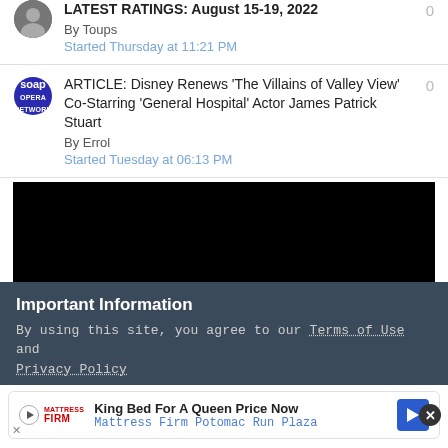LATEST RATINGS: August 15-19, 2022
By Toups
Started Thursday at 11:21 PM
ARTICLE: Disney Renews ‘The Villains of Valley View’ Co-Starring ‘General Hospital’ Actor James Patrick Stuart
By Errol
Started Tuesday at 06:13 PM
[Figure (screenshot): Black video player block]
Important Information
By using this site, you agree to our Terms of Use and Privacy Policy
[Figure (infographic): Advertisement: King Bed For A Queen Price Now - Mattress Firm Potomac Run Plaza]